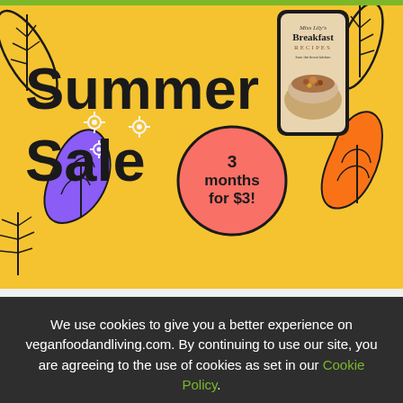[Figure (illustration): Summer Sale advertisement banner with yellow background. Large bold text reads 'Summer Sale' with a coral/orange circle badge saying '3 months for $3!'. A smartphone showing a Breakfast Recipes magazine cover is on the right. Decorative tropical leaves, monstera plants, and small flowers are scattered around. A green bar runs along the top.]
Written by
Vegan Food & Living
We use cookies to give you a better experience on veganfoodandliving.com. By continuing to use our site, you are agreeing to the use of cookies as set in our Cookie Policy.
OK, got it